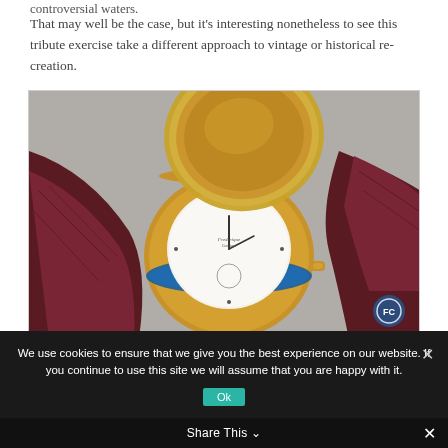controversial waters.
That may well be the case, but it's interesting nonetheless to see this tribute exercise take a different approach to vintage or historical re-creation.
[Figure (photo): Close-up photograph of a luxury pocket watch with gold case and open lid, sitting on a dark burgundy/maroon crocodile leather strap, on a grey surface. The watch has a white dial and blue enamel accents on the case band.]
We use cookies to ensure that we give you the best experience on our website. If you continue to use this site we will assume that you are happy with it.
Share This